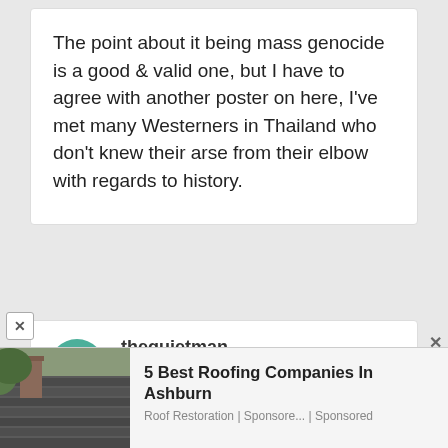The point about it being mass genocide is a good & valid one, but I have to agree with another poster on here, I've met many Westerners in Thailand who don't knew their arse from their elbow with regards to history.
thequietman
⊕ 12129
Posted January 27, 2019
[Figure (photo): Photo of a roofing company advertisement showing a house roof with dark shingles and a chimney]
5 Best Roofing Companies In Ashburn
Roof Restoration | Sponsore... | Sponsored